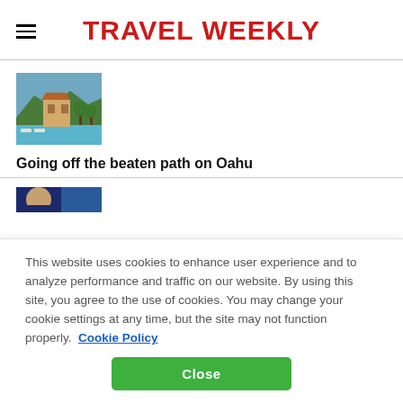TRAVEL WEEKLY
[Figure (photo): Thumbnail photo of a resort pool area with tropical scenery, Oahu Hawaii]
Going off the beaten path on Oahu
[Figure (photo): Partial thumbnail of a person, partially visible at bottom of page]
This website uses cookies to enhance user experience and to analyze performance and traffic on our website. By using this site, you agree to the use of cookies. You may change your cookie settings at any time, but the site may not function properly.  Cookie Policy
Close